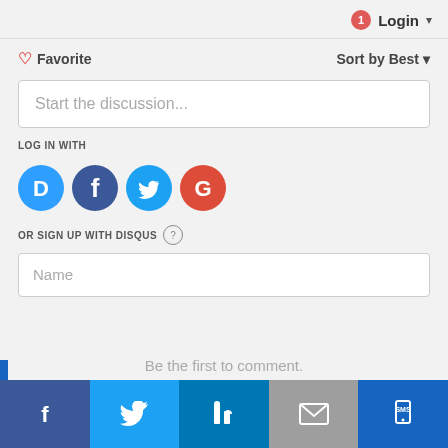1 Login ▾
♡ Favorite   Sort by Best ▾
Start the discussion...
LOG IN WITH
[Figure (logo): Social login icons: Disqus (D), Facebook (f), Twitter bird, Google (G) as colored circles]
OR SIGN UP WITH DISQUS ?
Name
Be the first to comment.
[Figure (infographic): Social share footer bar with Facebook, Twitter, LinkedIn, Email, and Mobile share buttons]